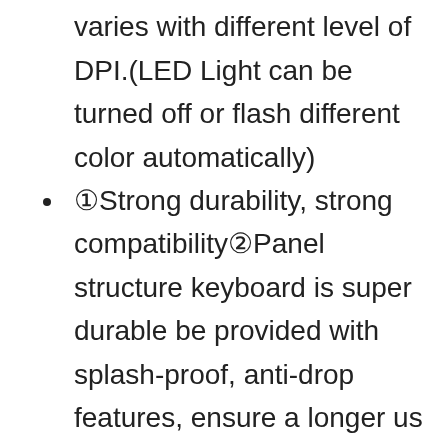color(Rose,Purple,Blue,Red) varies with different level of DPI.(LED Light can be turned off or flash different color automatically)
①Strong durability, strong compatibility②Panel structure keyboard is super durable be provided with splash-proof, anti-drop features, ensure a longer us l life (mouse: over 5 million times test/ keyboard: over 10 million times test ). The USB keyboard and Mouse kit easily Compatibles with computer Windows 95/ 98/ XP/